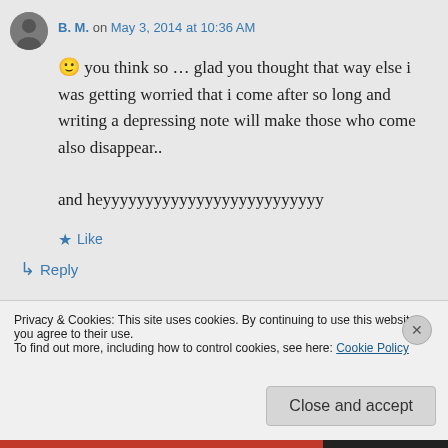B. M. on May 3, 2014 at 10:36 AM
🙂 you think so … glad you thought that way else i was getting worried that i come after so long and writing a depressing note will make those who come also disappear..
and heyyyyyyyyyyyyyyyyyyyyyyyyyy
★ Like
↳ Reply
Privacy & Cookies: This site uses cookies. By continuing to use this website, you agree to their use.
To find out more, including how to control cookies, see here: Cookie Policy